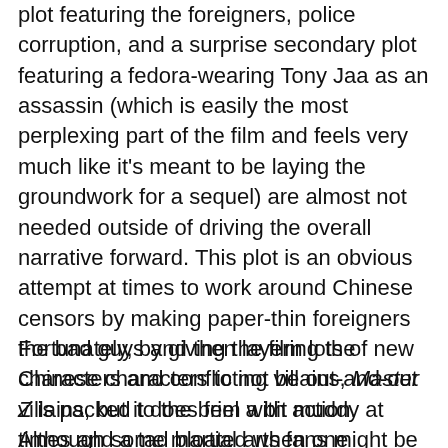plot featuring the foreigners, police corruption, and a surprise secondary plot featuring a fedora-wearing Tony Jaa as an assassin (which is easily the most perplexing part of the film and feels very much like it's meant to be laying the groundwork for a sequel) are almost not needed outside of driving the overall narrative forward. This plot is an obvious attempt at times to work around Chinese censors by making paper-thin foreigners the bad guys and then layering the Chinese characters to not be out-and-out villains, but it does feel a bit muddy at times and a tad bloated when one considers how effective the familial parallels between the crime syndicate and Cheung Tin-Chi's relationship with his new family are in the plot. I can't really blame them for some of these choices, particularly since Hollywood is notorious for creating paper-thin villains out of foreigners, but the script still could have used a bit of trimming.
Fortunately, by giving the film lots of new characters and conflicting villains, Master Z is packed to the brim with action. Although some martial arts fans might be disappointed in the use of some wire work in the film, it's to be expected from newer Yuen Woo Ping cinema and here the it is used to ...